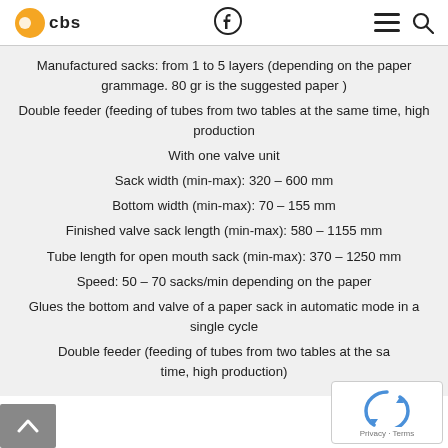CBS logo | Facebook | Menu | Search
Manufactured sacks: from 1 to 5 layers (depending on the paper grammage. 80 gr is the suggested paper )
Double feeder (feeding of tubes from two tables at the same time, high production
With one valve unit
Sack width (min-max): 320 – 600 mm
Bottom width (min-max): 70 – 155 mm
Finished valve sack length (min-max): 580 – 1155 mm
Tube length for open mouth sack (min-max): 370 – 1250 mm
Speed: 50 – 70 sacks/min depending on the paper
Glues the bottom and valve of a paper sack in automatic mode in a single cycle
Double feeder (feeding of tubes from two tables at the same time, high production)